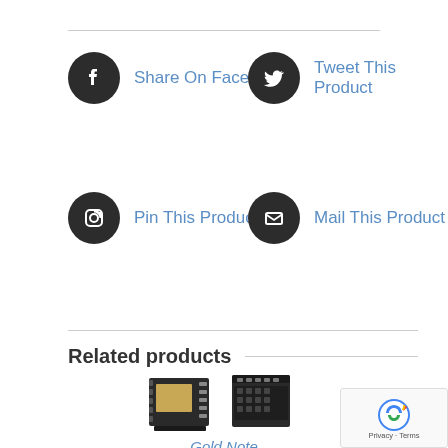Share On Facebook
Tweet This Product
Pin This Product
Mail This Product
Related products
[Figure (photo): Two electronic connector components side by side - appears to be Gold Note product]
Gold Note